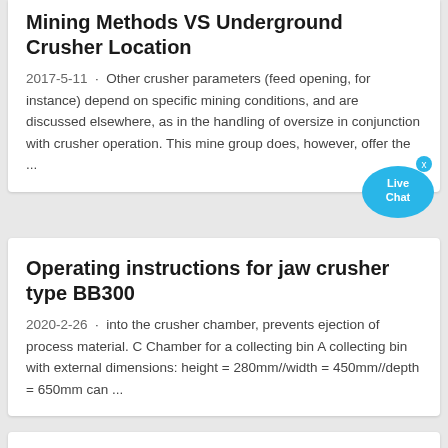Mining Methods VS Underground Crusher Location
2017-5-11 · Other crusher parameters (feed opening, for instance) depend on specific mining conditions, and are discussed elsewhere, as in the handling of oversize in conjunction with crusher operation. This mine group does, however, offer the ...
Operating instructions for jaw crusher type BB300
2020-2-26 · into the crusher chamber, prevents ejection of process material. C Chamber for a collecting bin A collecting bin with external dimensions: height = 280mm//width = 450mm//depth = 650mm can ...